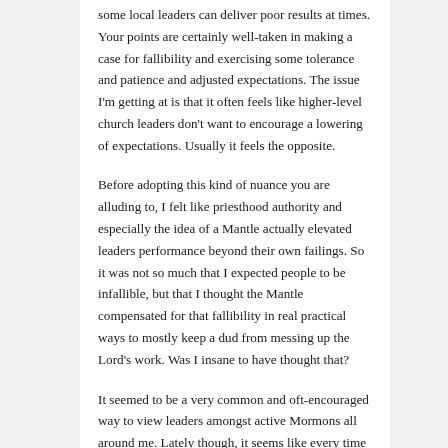some local leaders can deliver poor results at times. Your points are certainly well-taken in making a case for fallibility and exercising some tolerance and patience and adjusted expectations. The issue I'm getting at is that it often feels like higher-level church leaders don't want to encourage a lowering of expectations. Usually it feels the opposite.
Before adopting this kind of nuance you are alluding to, I felt like priesthood authority and especially the idea of a Mantle actually elevated leaders performance beyond their own failings. So it was not so much that I expected people to be infallible, but that I thought the Mantle compensated for that fallibility in real practical ways to mostly keep a dud from messing up the Lord's work. Was I insane to have thought that?
It seemed to be a very common and oft-encouraged way to view leaders amongst active Mormons all around me. Lately though, it seems like every time I